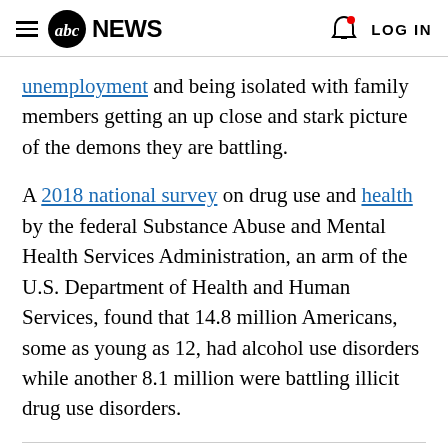abc NEWS  LOG IN
unemployment and being isolated with family members getting an up close and stark picture of the demons they are battling.
A 2018 national survey on drug use and health by the federal Substance Abuse and Mental Health Services Administration, an arm of the U.S. Department of Health and Human Services, found that 14.8 million Americans, some as young as 12, had alcohol use disorders while another 8.1 million were battling illicit drug use disorders.
It's hard enough to make that first